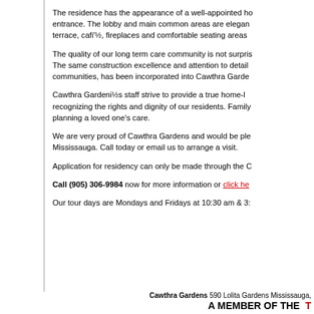The residence has the appearance of a well-appointed home with an elegant entrance. The lobby and main common areas are elegantly appointed with a terrace, cafiÂ½, fireplaces and comfortable seating areas.
The quality of our long term care community is not surprising given its history. The same construction excellence and attention to detail found in our retirement communities, has been incorporated into Cawthra Gardens.
Cawthra GardeniÂ½s staff strive to provide a true home-like environment by recognizing the rights and dignity of our residents. Family members are a key part of planning a loved one's care.
We are very proud of Cawthra Gardens and would be pleased to have you visit us in Mississauga. Call today or email us to arrange a visit.
Application for residency can only be made through the C...
Call (905) 306-9984 now for more information or click here...
Our tour days are Mondays and Fridays at 10:30 am & 3:...
Cawthra Gardens 590 Lolita Gardens Mississauga, ... A MEMBER OF THE ...